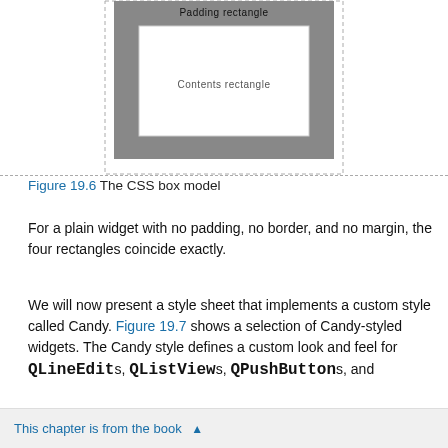[Figure (schematic): CSS box model diagram showing nested rectangles labeled 'Padding rectangle' (outer gray) and 'Contents rectangle' (inner white with border), partially cropped at top]
Figure 19.6 The CSS box model
For a plain widget with no padding, no border, and no margin, the four rectangles coincide exactly.
We will now present a style sheet that implements a custom style called Candy. Figure 19.7 shows a selection of Candy-styled widgets. The Candy style defines a custom look and feel for QLineEdits, QListViews, QPushButtons, and
This chapter is from the book ▲